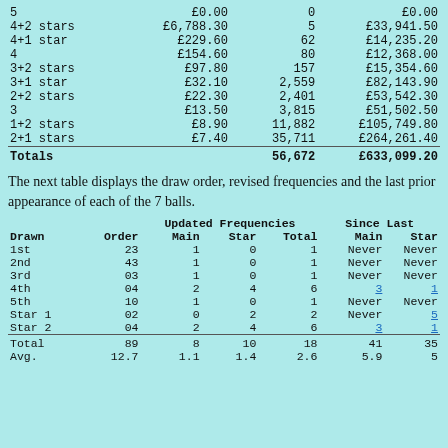|  | Prize | Winners | Total Prize Fund |
| --- | --- | --- | --- |
| 5 | £0.00 | 0 | £0.00 |
| 4+2 stars | £6,788.30 | 5 | £33,941.50 |
| 4+1 star | £229.60 | 62 | £14,235.20 |
| 4 | £154.60 | 80 | £12,368.00 |
| 3+2 stars | £97.80 | 157 | £15,354.60 |
| 3+1 star | £32.10 | 2,559 | £82,143.90 |
| 2+2 stars | £22.30 | 2,401 | £53,542.30 |
| 3 | £13.50 | 3,815 | £51,502.50 |
| 1+2 stars | £8.90 | 11,882 | £105,749.80 |
| 2+1 stars | £7.40 | 35,711 | £264,261.40 |
| Totals |  | 56,672 | £633,099.20 |
The next table displays the draw order, revised frequencies and the last prior appearance of each of the 7 balls.
| Drawn | Order | Main | Star | Total | Main | Star |
| --- | --- | --- | --- | --- | --- | --- |
| 1st | 23 | 1 | 0 | 1 | Never | Never |
| 2nd | 43 | 1 | 0 | 1 | Never | Never |
| 3rd | 03 | 1 | 0 | 1 | Never | Never |
| 4th | 04 | 2 | 4 | 6 | 3 | 1 |
| 5th | 10 | 1 | 0 | 1 | Never | Never |
| Star 1 | 02 | 0 | 2 | 2 | Never | 5 |
| Star 2 | 04 | 2 | 4 | 6 | 3 | 1 |
| Total | 89 | 8 | 10 | 18 | 41 | 35 |
| Avg. | 12.7 | 1.1 | 1.4 | 2.6 | 5.9 | 5 |